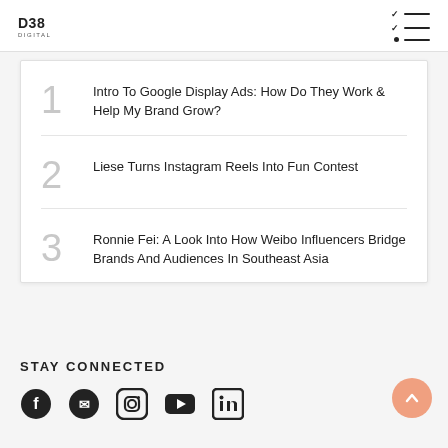D38 DIGITAL
1  Intro To Google Display Ads: How Do They Work & Help My Brand Grow?
2  Liese Turns Instagram Reels Into Fun Contest
3  Ronnie Fei: A Look Into How Weibo Influencers Bridge Brands And Audiences In Southeast Asia
STAY CONNECTED
[Figure (infographic): Row of social media icons: Facebook, Messenger, Instagram, YouTube, LinkedIn]